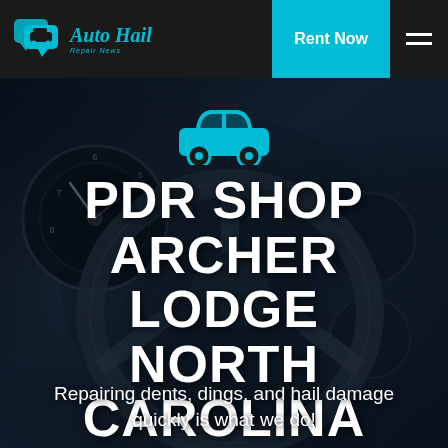[Figure (logo): Auto Hail Repair News logo with teal chat bubble car icons and teal italic text]
Rent Now
[Figure (photo): Dark close-up of a luxury car interior dashboard with steering wheel and instrument cluster]
[Figure (illustration): Teal car icon silhouette]
PDR SHOP ARCHER LODGE NORTH CAROLINA
Repairing dents, dings, and hail damage quickly is what we do!